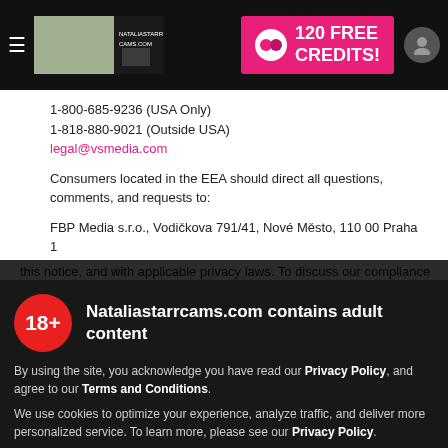Nataliastarrcams.com — 120 FREE CREDITS! header bar
1-800-685-9236 (USA Only)
1-818-880-9021 (Outside USA)
legal@vsmedia.com
Consumers located in the EEA should direct all questions, comments, and requests to:
FBP Media s.r.o., Vodičkova 791/41, Nové Město, 110 00 Praha 1
legal@vsmedia.com
We have procedures in place to receive and respond to complaints or inquiries about our handling of personal information, our compliance with this notice, and with applicable privacy laws. To discuss our compliance...
[Figure (screenshot): 18+ age verification modal overlay on adult website. Contains '18+' red badge, site name warning 'Nataliastarrcams.com contains adult content', privacy policy acknowledgment text, cookie notice, 'I AGREE' pink button, and navigation icons.]
Nataliastarrcams.com contains adult content
By using the site, you acknowledge you have read our Privacy Policy, and agree to our Terms and Conditions.
We use cookies to optimize your experience, analyze traffic, and deliver more personalized service. To learn more, please see our Privacy Policy.